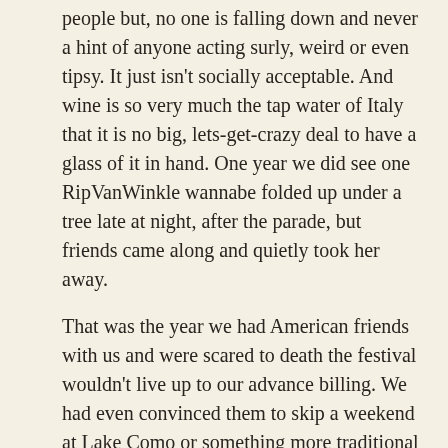people but, no one is falling down and never a hint of anyone acting surly, weird or even tipsy. It just isn't socially acceptable. And wine is so very much the tap water of Italy that it is no big, lets-get-crazy deal to have a glass of it in hand. One year we did see one RipVanWinkle wannabe folded up under a tree late at night, after the parade, but friends came along and quietly took her away.
That was the year we had American friends with us and were scared to death the festival wouldn't live up to our advance billing. We had even convinced them to skip a weekend at Lake Como or something more traditional and A List. If the full body wine bath didn't get their attention, the round-the-clock level of activity did. Craft stores spring up behind doors we never see open the rest of the year. Some of the spaces are quite elegant galleries, some are hastily swept out storage cantinas that probably had farm equipment in them the day before. Wine, olive oil, carving, weaving, paintings, pottery on and on being sold by talented